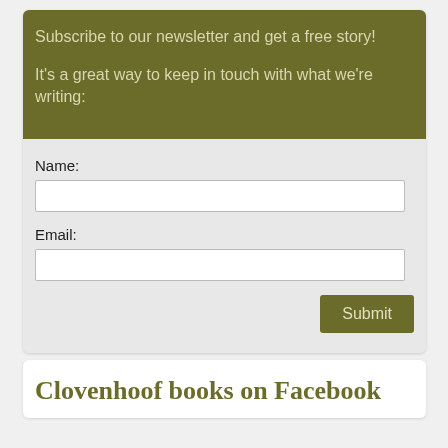Subscribe to our newsletter and get a free story!
It's a great way to keep in touch with what we're writing:
Name:
Email:
Submit
Clovenhoof books on Facebook